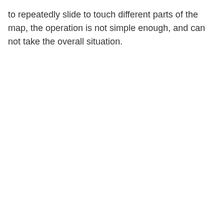to repeatedly slide to touch different parts of the map, the operation is not simple enough, and can not take the overall situation.